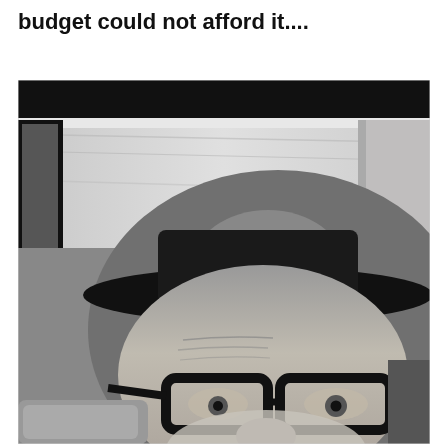budget could not afford it....
[Figure (photo): Black and white selfie photo of a man wearing a wide-brimmed black hat and thick-rimmed glasses, taken from inside a car. The car interior shows the ceiling liner, sun visor, and dashboard. The man has a grey beard and wrinkled forehead. Trees are visible outside through the car window in the background.]